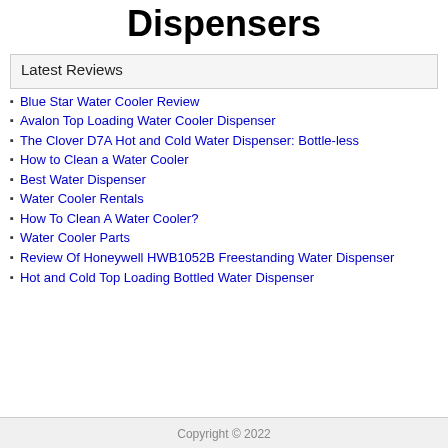Dispensers
Latest Reviews
Blue Star Water Cooler Review
Avalon Top Loading Water Cooler Dispenser
The Clover D7A Hot and Cold Water Dispenser: Bottle-less
How to Clean a Water Cooler
Best Water Dispenser
Water Cooler Rentals
How To Clean A Water Cooler?
Water Cooler Parts
Review Of Honeywell HWB1052B Freestanding Water Dispenser
Hot and Cold Top Loading Bottled Water Dispenser
Copyright © 2022